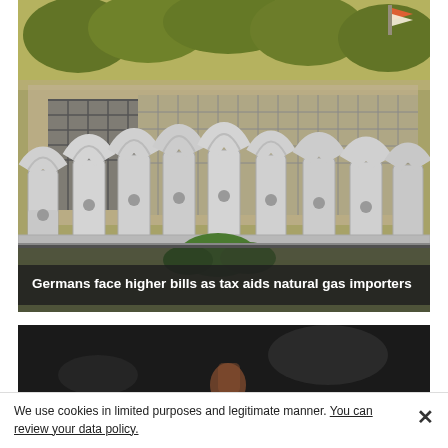[Figure (photo): Industrial natural gas pipes and equipment at a facility, silver cylindrical pipes with valves and U-bends, industrial structure with stairs in background, trees visible above]
Germans face higher bills as tax aids natural gas importers
[Figure (photo): Dark background photo, partially visible, appears to show a person or object in low light]
We use cookies in limited purposes and legitimate manner. You can review your data policy.